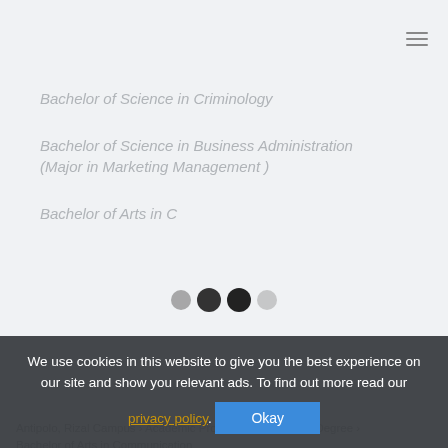Bachelor of Science in Criminology
Bachelor of Science in Business Administration (Major in Marketing Management )
Bachelor of Arts in Communication
Antipolo, Rizal Campus › Academic Programs › Bachelor's Degree › Bachelor of Arts in Communication
We use cookies in this website to give you the best experience on our site and show you relevant ads. To find out more read our privacy policy.
Okay